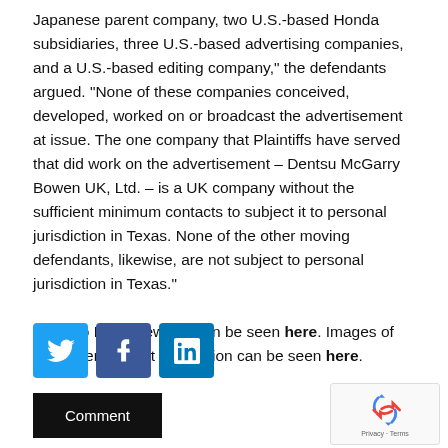Japanese parent company, two U.S.-based Honda subsidiaries, three U.S.-based advertising companies, and a U.S.-based editing company," the defendants argued. "None of these companies conceived, developed, worked on or broadcast the advertisement at issue. The one company that Plaintiffs have served that did work on the advertisement – Dentsu McGarry Bowen UK, Ltd. – is a UK company without the sufficient minimum contacts to subject it to personal jurisdiction in Texas. None of the other moving defendants, likewise, are not subject to personal jurisdiction in Texas."
The “Do More New” ad can be seen here. Images of the “Inversion” art installation can be seen here.
[Figure (other): Social media share buttons: Twitter (blue bird icon), Facebook (blue f icon), LinkedIn (blue in icon)]
Comment
[Figure (other): reCAPTCHA widget with Google logo. Shows recycling arrows logo and Privacy - Terms links.]